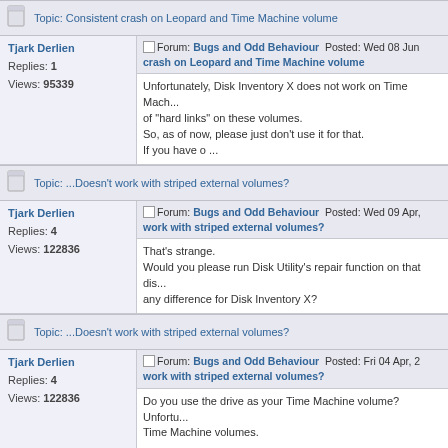Topic: Consistent crash on Leopard and Time Machine volume
Tjark Derlien
Replies: 1
Views: 95339
Forum: Bugs and Odd Behaviour  Posted: Wed 08 Jun
Consistent crash on Leopard and Time Machine volume
Unfortunately, Disk Inventory X does not work on Time Machine volumes because of "hard links" on these volumes.
So, as of now, please just don't use it for that.
If you have o ...
Topic: ...Doesn't work with striped external volumes?
Tjark Derlien
Replies: 4
Views: 122836
Forum: Bugs and Odd Behaviour  Posted: Wed 09 Apr,
...Doesn't work with striped external volumes?
That's strange.
Would you please run Disk Utility's repair function on that disk, and see if it makes any difference for Disk Inventory X?
Topic: ...Doesn't work with striped external volumes?
Tjark Derlien
Replies: 4
Views: 122836
Forum: Bugs and Odd Behaviour  Posted: Fri 04 Apr, 2
...Doesn't work with striped external volumes?
Do you use the drive as your Time Machine volume? Unfortunately... Time Machine volumes.

- Tjark
Topic: Sleepimage?
Tjark Derlien
Replies: 4
Views: 140520
Forum: General Chat  Posted: Fri 04 Apr, 2008 16:41  S
This file is part of your system.
Your Mac stores a copy of the RAM in this file if your Mac i...